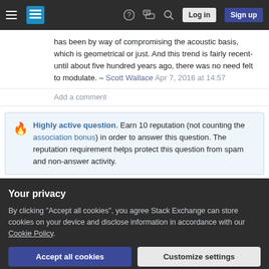Stack Exchange navigation bar with hamburger menu, logo, help, chat, search icons, Log in and Sign up buttons
has been by way of compromising the acoustic basis, which is geometrical or just. And this trend is fairly recent- until about five hundred years ago, there was no need felt to modulate. – Scott Wallace Apr 7, 2016 at 14:57
Add a comment
Highly active question. Earn 10 reputation (not counting the association bonus) in order to answer this question. The reputation requirement helps protect this question from spam and non-answer activity.
Your privacy
By clicking "Accept all cookies", you agree Stack Exchange can store cookies on your device and disclose information in accordance with our Cookie Policy.
Accept all cookies   Customize settings